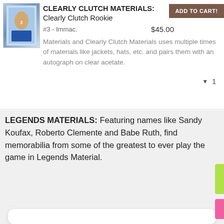[Figure (photo): Baseball trading card product image showing a player]
CLEARLY CLUTCH MATERIALS: Clearly Clutch Rookie Materials and Clearly Clutch Materials uses multiple times of materials like jackets, hats, etc. and pairs them with an autograph on clear acetate.
#3 - Immac.
$45.00
ADD TO CART!
1
LEGENDS MATERIALS: Featuring names like Sandy Koufax, Roberto Clemente and Babe Ruth, find memorabilia from some of the greatest to ever play the game in Legends Material.